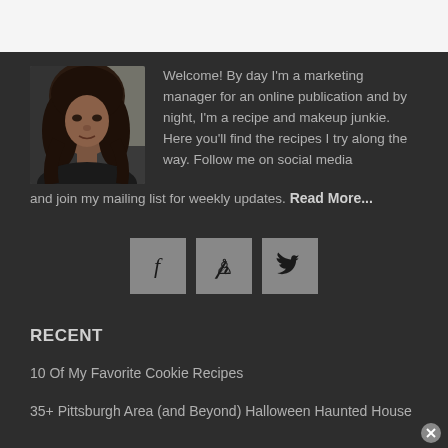[Figure (photo): Profile photo of a woman with dark hair against a light background]
Welcome! By day I'm a marketing manager for an online publication and by night, I'm a recipe and makeup junkie. Here you'll find the recipes I try along the way. Follow me on social media and join my mailing list for weekly updates. Read More...
[Figure (infographic): Three social media icon buttons: Facebook (f), Pinterest (p), Twitter (bird)]
RECENT
10 Of My Favorite Cookie Recipes
35+ Pittsburgh Area (and Beyond) Halloween Haunted House